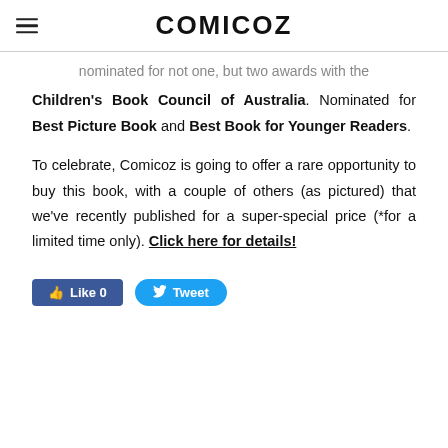COMICOZ
nominated for not one, but two awards with the Children's Book Council of Australia. Nominated for Best Picture Book and Best Book for Younger Readers.
To celebrate, Comicoz is going to offer a rare opportunity to buy this book, with a couple of others (as pictured) that we've recently published for a super-special price (*for a limited time only). Click here for details!